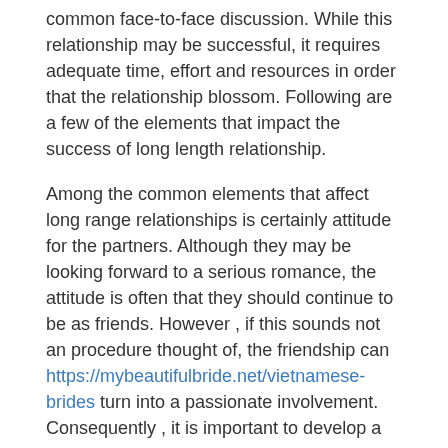common face-to-face discussion. While this relationship may be successful, it requires adequate time, effort and resources in order that the relationship blossom. Following are a few of the elements that impact the success of long length relationship.
Among the common elements that affect long range relationships is certainly attitude for the partners. Although they may be looking forward to a serious romance, the attitude is often that they should continue to be as friends. However , if this sounds not an procedure thought of, the friendship can https://mybeautifulbride.net/vietnamese-brides turn into a passionate involvement. Consequently , it is important to develop a good relationship strategy that might help the prolonged distance couples to defeat this prevalent obstacle.
It is very important to have a lot of alone coming back the lovers when extended range distance relationship. This is especially necessary for single individuals that spend most of their period either operating or studying alone. This alone time is a perfect opportunity to acquire familiarised and also attachment with one another. Another important factor to consider can be how far separately both of you live life. If you live too far apart, it may mean you will have to visit the other person once in a while.